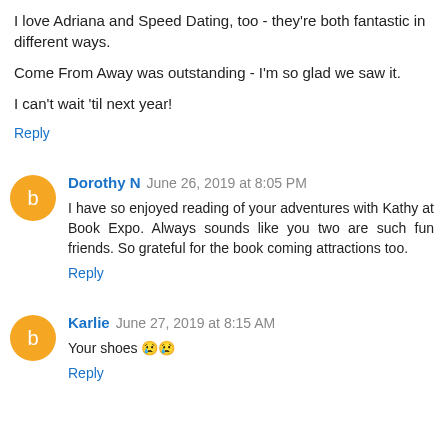I love Adriana and Speed Dating, too - they're both fantastic in different ways.
Come From Away was outstanding - I'm so glad we saw it.
I can't wait 'til next year!
Reply
Dorothy N  June 26, 2019 at 8:05 PM
I have so enjoyed reading of your adventures with Kathy at Book Expo. Always sounds like you two are such fun friends. So grateful for the book coming attractions too.
Reply
Karlie  June 27, 2019 at 8:15 AM
Your shoes 😢😢
Reply